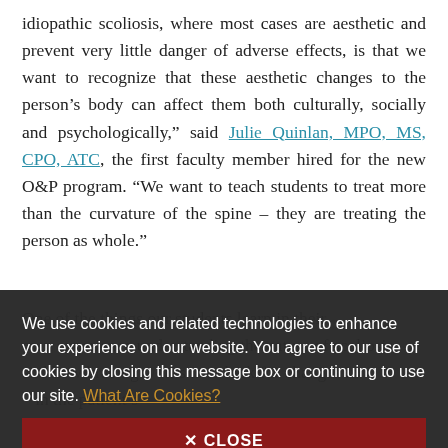idiopathic scoliosis, where most cases are aesthetic and prevent very little danger of adverse effects, is that we want to recognize that these aesthetic changes to the person's body can affect them both culturally, socially and psychologically," said Julie Quinlan, MPO, MS, CPO, ATC, the first faculty member hired for the new O&P program. "We want to teach students to treat more than the curvature of the spine – they are treating the person as whole."
We use cookies and related technologies to enhance your experience on our website. You agree to our use of cookies by closing this message box or continuing to use our site. What Are Cookies?
✕ CLOSE